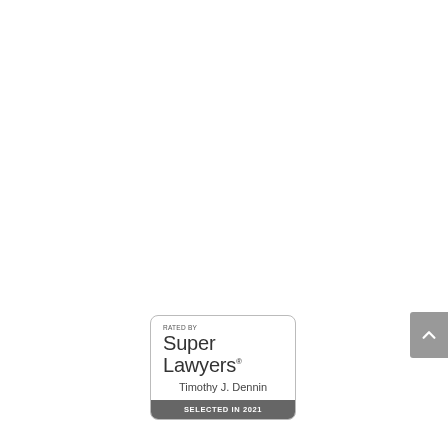[Figure (logo): Super Lawyers badge/seal: 'RATED BY' in small caps, 'Super Lawyers®' in large text, 'Timothy J. Dennin' as the named attorney, and 'SELECTED IN 2021' on a dark gray bar at the bottom. The badge has a rounded-rectangle border.]